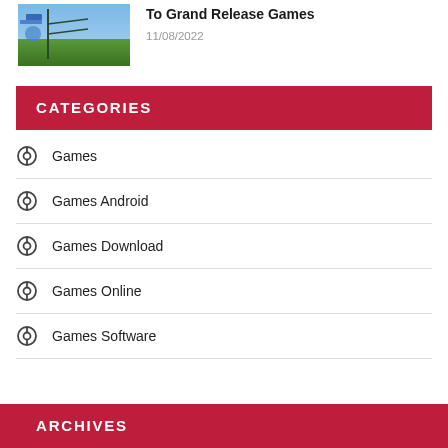[Figure (photo): Thumbnail image of outdoor scene with green tones]
To Grand Release Games
11/08/2022
CATEGORIES
Games
Games Android
Games Download
Games Online
Games Software
ARCHIVES